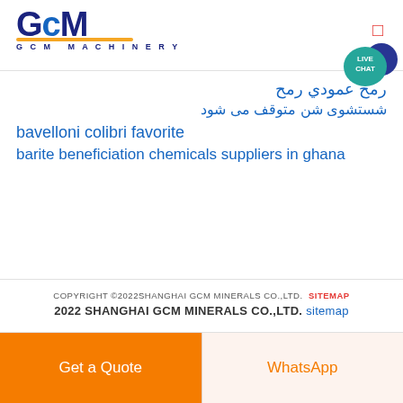GCM MACHINERY
رمح عمودي رمح
شستشوی شن متوقف می شود
bavelloni colibri favorite
barite beneficiation chemicals suppliers in ghana
COPYRIGHT ©2022SHANGHAI GCM MINERALS CO.,LTD. SITEMAP
2022 SHANGHAI GCM MINERALS CO.,LTD. sitemap